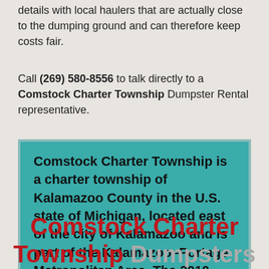details with local haulers that are actually close to the dumping ground and can therefore keep costs fair.
Call (269) 580-8556 to talk directly to a Comstock Charter Township Dumpster Rental representative.
Comstock Charter Township is a charter township of Kalamazoo County in the U.S. state of Michigan, located east of the city of Kalamazoo and is part of the Kalamazoo–Portage Metropolitan Area. The 2010 census recorded the population within the township at 14,854.
Comstock Charter Township Dumpsters